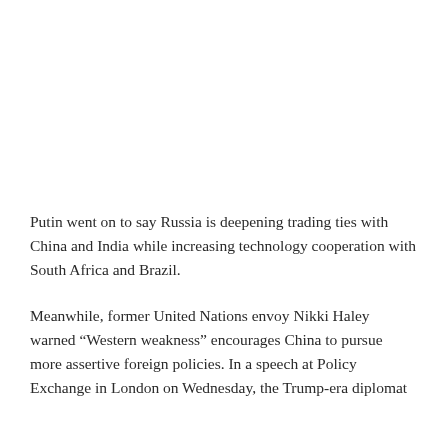Putin went on to say Russia is deepening trading ties with China and India while increasing technology cooperation with South Africa and Brazil.
Meanwhile, former United Nations envoy Nikki Haley warned “Western weakness” encourages China to pursue more assertive foreign policies. In a speech at Policy Exchange in London on Wednesday, the Trump-era diplomat